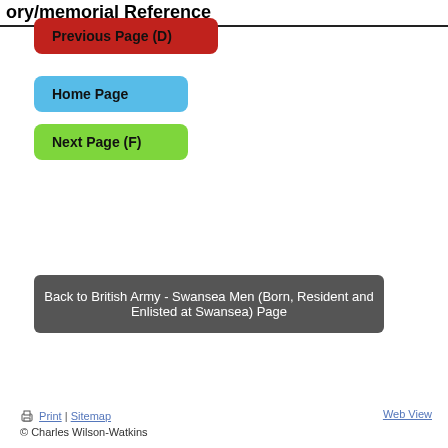ory/memorial Reference
Previous Page (D)
Home Page
Next Page (F)
Back to British Army - Swansea Men (Born, Resident and Enlisted at Swansea) Page
Print | Sitemap   Web View   © Charles Wilson-Watkins